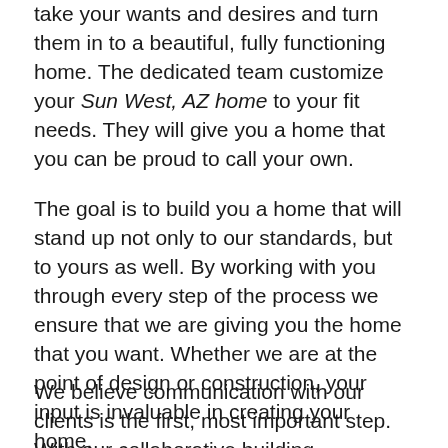take your wants and desires and turn them in to a beautiful, fully functioning home. The dedicated team customize your Sun West, AZ home to your fit needs. They will give you a home that you can be proud to call your own.
The goal is to build you a home that will stand up not only to our standards, but to yours as well. By working with you through every step of the process we ensure that we are giving you the home that you want. Whether we are at the point of design or construction, your input is invaluable in creating your home.
We believe communication with our clients is the first, most important step. With our collaborative building experience, your home becomes our home. We take